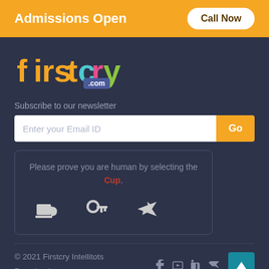Admissions Open
Call Now
[Figure (logo): firstcry.com logo with colorful letters on dark background]
Subscribe to our newsletter
Enter your Email ID
Please prove you are human by selecting the Cup.
[Figure (illustration): CAPTCHA widget with three icons: cup, key, airplane]
© 2021 Firstcry Intellitots Preschool
Terms & Conditions | Privacy Policy